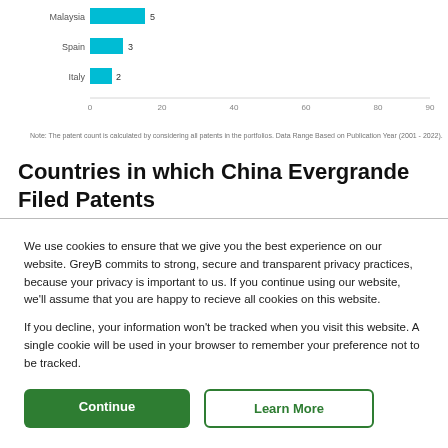[Figure (bar-chart): Countries in which China Evergrande Filed Patents (partial view)]
Note: The patent count is calculated by considering all patents in the portfolios. Data Range Based on Publication Year (2001 - 2022).
Countries in which China Evergrande Filed Patents
We use cookies to ensure that we give you the best experience on our website. GreyB commits to strong, secure and transparent privacy practices, because your privacy is important to us. If you continue using our website, we'll assume that you are happy to recieve all cookies on this website.
If you decline, your information won't be tracked when you visit this website. A single cookie will be used in your browser to remember your preference not to be tracked.